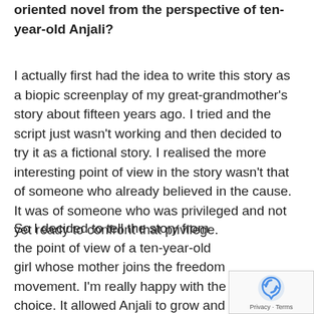oriented novel from the perspective of ten-year-old Anjali?
I actually first had the idea to write this story as a biopic screenplay of my great-grandmother's story about fifteen years ago. I tried and the script just wasn't working and then decided to try it as a fictional story. I realised the more interesting point of view in the story wasn't that of someone who already believed in the cause. It was of someone who was privileged and not yet ready to confront that privilege.
So I decided to tell the story from the point of view of a ten-year-old girl whose mother joins the freedom movement. I'm really happy with the choice. It allowed Anjali to grow and change so much over the course of the story